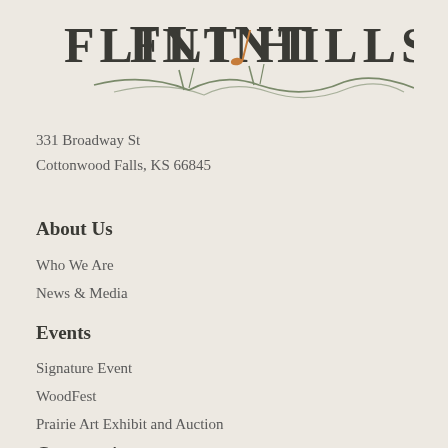[Figure (logo): Flint Hills logo with stylized text and decorative grass/wave line beneath]
331 Broadway St
Cottonwood Falls, KS 66845
About Us
Who We Are
News & Media
Events
Signature Event
WoodFest
Prairie Art Exhibit and Auction
Community
Field House and...